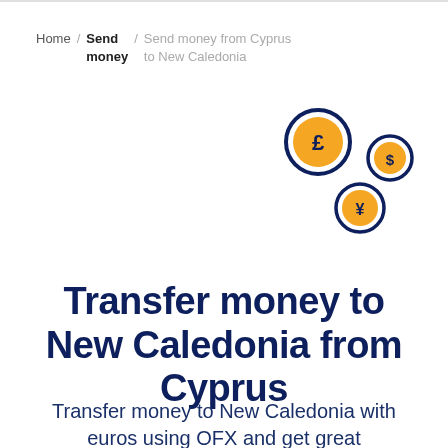Home / Send money / Send money from Cyprus to New Caledonia
[Figure (illustration): Three currency coin icons (£, $, ¥) in orange and dark navy, arranged diagonally]
Transfer money to New Caledonia from Cyprus
Transfer money to New Caledonia with euros using OFX and get great